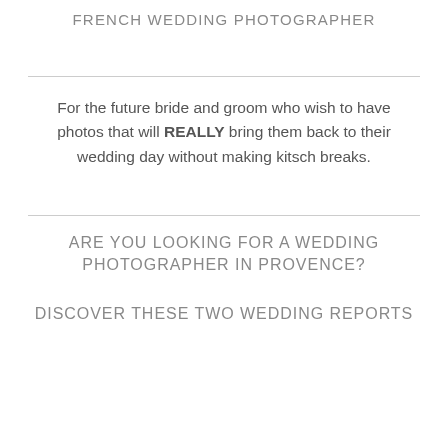FRENCH WEDDING PHOTOGRAPHER
For the future bride and groom who wish to have photos that will REALLY bring them back to their wedding day without making kitsch breaks.
ARE YOU LOOKING FOR A WEDDING PHOTOGRAPHER IN PROVENCE?
DISCOVER THESE TWO WEDDING REPORTS